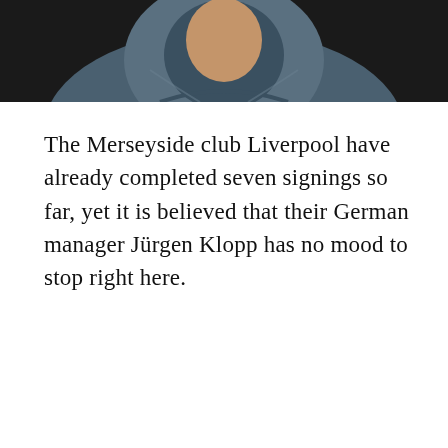[Figure (photo): A person wearing a blue/grey hooded puffer jacket, photographed from the chest up against a dark background. The hood is up and the face is partially visible.]
The Merseyside club Liverpool have already completed seven signings so far, yet it is believed that their German manager Jürgen Klopp has no mood to stop right here.